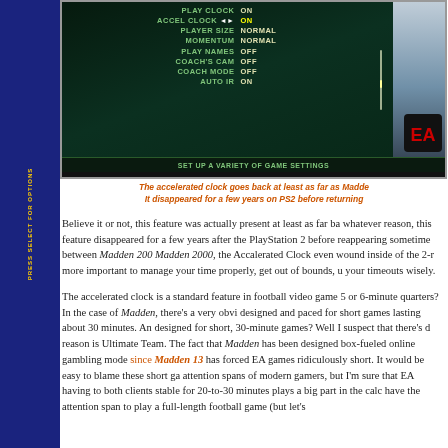[Figure (screenshot): Madden video game settings screen showing PLAY CLOCK ON, ACCEL CLOCK ON (highlighted), PLAYER SIZE NORMAL, MOMENTUM NORMAL, PLAY NAMES OFF, COACH'S CAM OFF, COACH MODE OFF, AUTO IR ON. Bottom bar reads: SET UP A VARIETY OF GAME SETTINGS]
The accelerated clock goes back at least as far as Madde [Madden]. It disappeared for a few years on PS2 before returning
Believe it or not, this feature was actually present at least as far ba whatever reason, this feature disappeared for a few years after the PlayStation 2 before reappearing sometime between Madden 200 Madden 2000, the Accalerated Clock even wound inside of the 2-r more important to manage your time properly, get out of bounds, u your timeouts wisely.
The accelerated clock is a standard feature in football video game 5 or 6-minute quarters? In the case of Madden, there's a very obvi designed and paced for short games lasting about 30 minutes. An designed for short, 30-minute games? Well I suspect that there's d reason is Ultimate Team. The fact that Madden has been designed box-fueled online gambling mode since Madden 13 has forced EA games ridiculously short. It would be easy to blame these short ga attention spans of modern gamers, but I'm sure that EA having to both clients stable for 20-to-30 minutes plays a big part in the calc have the attention span to play a full-length football game (but let's